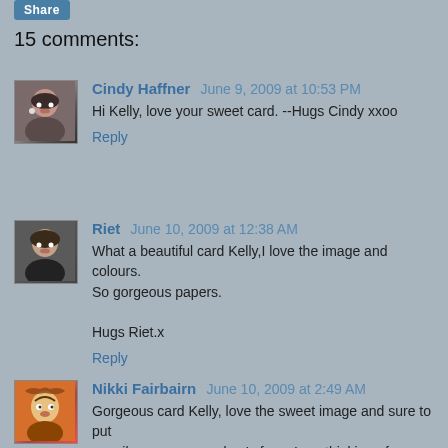15 comments:
Cindy Haffner June 9, 2009 at 10:53 PM
Hi Kelly, love your sweet card. --Hugs Cindy xxoo
Reply
Riet June 10, 2009 at 12:38 AM
What a beautiful card Kelly,I love the image and colours. So gorgeous papers.
Hugs Riet.x
Reply
Nikki Fairbairn June 10, 2009 at 2:49 AM
Gorgeous card Kelly, love the sweet image and sure to put a smile on your grandma's face. I am thinking of you and